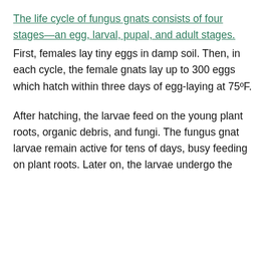The life cycle of fungus gnats consists of four stages—an egg, larval, pupal, and adult stages. First, females lay tiny eggs in damp soil. Then, in each cycle, the female gnats lay up to 300 eggs which hatch within three days of egg-laying at 75ºF.
After hatching, the larvae feed on the young plant roots, organic debris, and fungi. The fungus gnat larvae remain active for tens of days, busy feeding on plant roots. Later on, the larvae undergo the